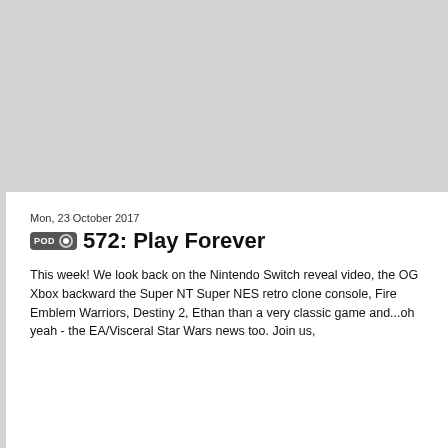[Figure (screenshot): Gray image placeholder occupying the top portion of the page]
Mon, 23 October 2017
572: Play Forever
This week! We look back on the Nintendo Switch reveal video, the OG Xbox backward the Super NT Super NES retro clone console, Fire Emblem Warriors, Destiny 2, Ethan than a very classic game and...oh yeah - the EA/Visceral Star Wars news too. Join us,